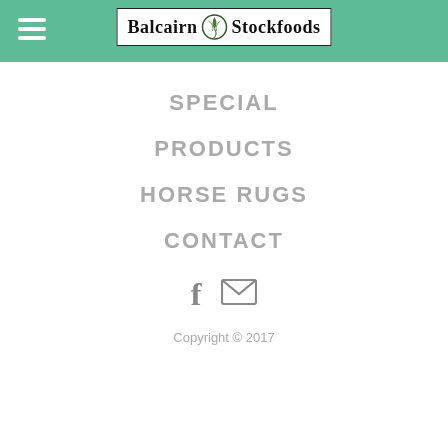Balcairn Stockfoods
SPECIAL
PRODUCTS
HORSE RUGS
CONTACT
[Figure (illustration): Facebook and email social media icons]
Copyright © 2017